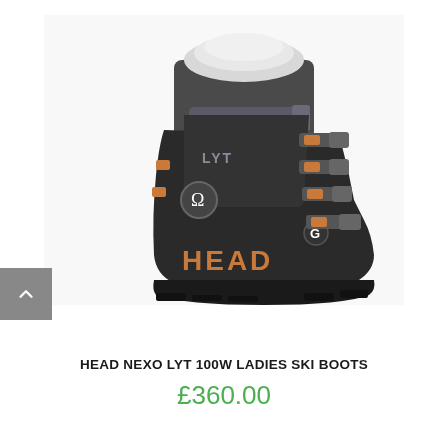[Figure (photo): HEAD NEXO LYT 100W ladies ski boot in dark grey/black with orange buckle accents and grey strap at top, HEAD branding on the toe box, white liner visible at top, on white background]
HEAD NEXO LYT 100W LADIES SKI BOOTS
£360.00